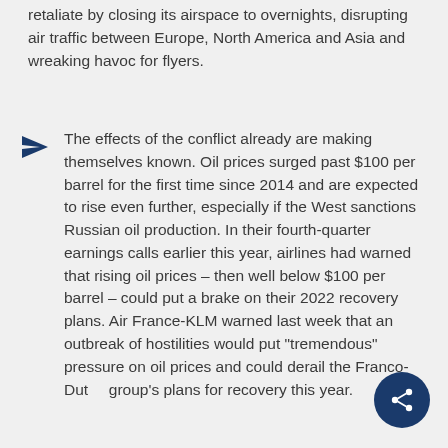retaliate by closing its airspace to overnights, disrupting air traffic between Europe, North America and Asia and wreaking havoc for flyers.
The effects of the conflict already are making themselves known. Oil prices surged past $100 per barrel for the first time since 2014 and are expected to rise even further, especially if the West sanctions Russian oil production. In their fourth-quarter earnings calls earlier this year, airlines had warned that rising oil prices – then well below $100 per barrel – could put a brake on their 2022 recovery plans. Air France-KLM warned last week that an outbreak of hostilities would put "tremendous" pressure on oil prices and could derail the Franco-Dutch group's plans for recovery this year.